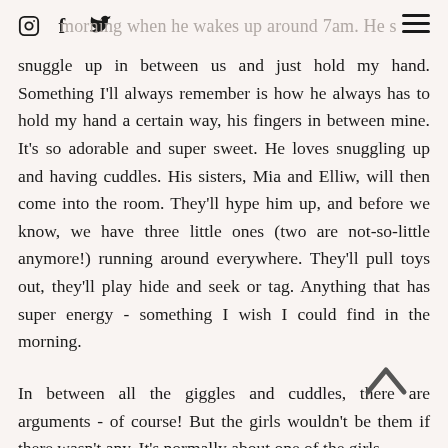morning when he wakes up around 7am. He s
snuggle up in between us and just hold my hand. Something I'll always remember is how he always has to hold my hand a certain way, his fingers in between mine. It's so adorable and super sweet. He loves snuggling up and having cuddles. His sisters, Mia and Elliw, will then come into the room. They'll hype him up, and before we know, we have three little ones (two are not-so-little anymore!) running around everywhere. They'll pull toys out, they'll play hide and seek or tag. Anything that has super energy - something I wish I could find in the morning.
In between all the giggles and cuddles, there are arguments - of course! But the girls wouldn't be them if there wasn't any. It's normally about one of the girls